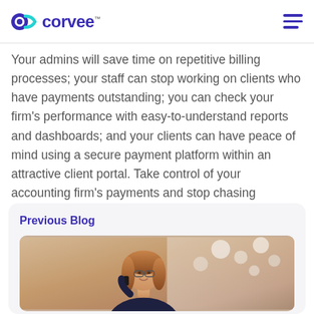corvee
Your admins will save time on repetitive billing processes; your staff can stop working on clients who have payments outstanding; you can check your firm’s performance with easy-to-understand reports and dashboards; and your clients can have peace of mind using a secure payment platform within an attractive client portal. Take control of your accounting firm’s payments and stop chasing invoices.
Previous Blog
[Figure (photo): Woman with glasses talking on a phone, smiling, with a blurred floral background]